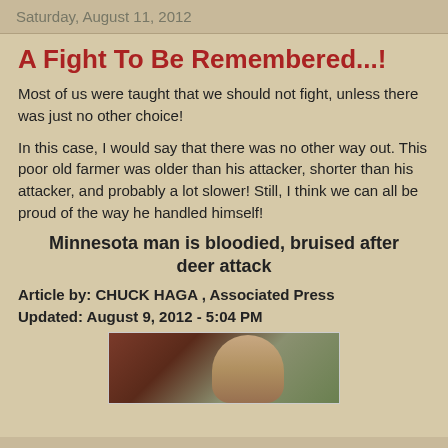Saturday, August 11, 2012
A Fight To Be Remembered...!
Most of us were taught that we should not fight, unless there was just no other choice!
In this case, I would say that there was no other way out. This poor old farmer was older than his attacker, shorter than his attacker, and probably a lot slower! Still, I think we can all be proud of the way he handled himself!
Minnesota man is bloodied, bruised after deer attack
Article by: CHUCK HAGA , Associated Press
Updated: August 9, 2012 - 5:04 PM
[Figure (photo): Photo of a man, partially visible, outdoors background]